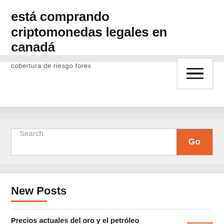está comprando criptomonedas legales en canadá
cobertura de riesgo forex
Search
New Posts
Precios actuales del oro y el petróleo
Comprar bonos a través de etrade